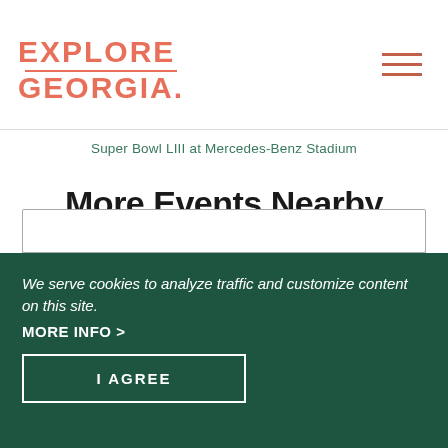[Figure (logo): Explore Georgia logo in salmon/coral color with decorative underline]
Super Bowl LIII at Mercedes-Benz Stadium
More Events Nearby
Type
Buena Vista (3)
We serve cookies to analyze traffic and customize content on this site.
MORE INFO >
I AGREE